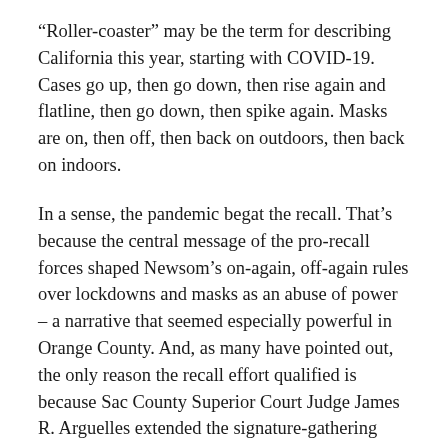“Roller-coaster” may be the term for describing California this year, starting with COVID-19. Cases go up, then go down, then rise again and flatline, then go down, then spike again. Masks are on, then off, then back on outdoors, then back on indoors.
In a sense, the pandemic begat the recall. That’s because the central message of the pro-recall forces shaped Newsom’s on-again, off-again rules over lockdowns and masks as an abuse of power – a narrative that seemed especially powerful in Orange County. And, as many have pointed out, the only reason the recall effort qualified is because Sac County Superior Court Judge James R. Arguelles extended the signature-gathering period due to COVID.
It was difficult to ignore Republican Kevin Falconer, the former San Diego mayor and one of 46 candidates challenging Gov. Newsom. But one of our Top 100 criteria is this: How much does